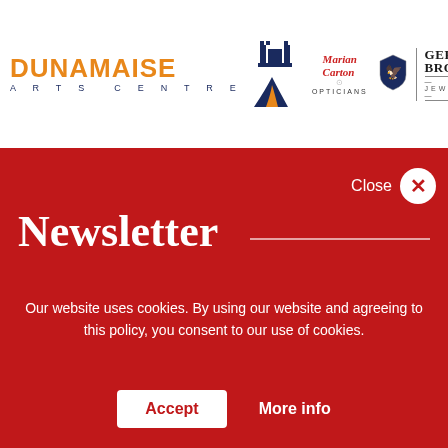[Figure (logo): Dunamaise Arts Centre logo with orange text and road/path graphic, alongside Marian Carton Opticians logo and Gerry Browne Jewellers logo]
Newsletter
Our website uses cookies. By using our website and agreeing to this policy, you consent to our use of cookies.
Accept
More info